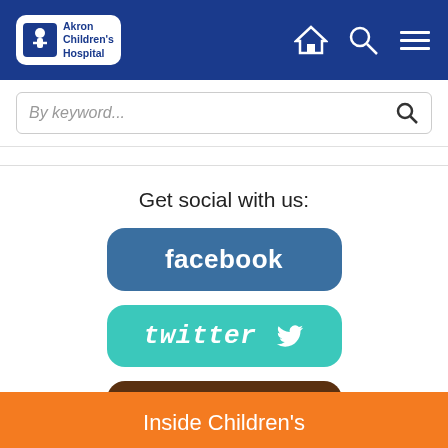[Figure (screenshot): Akron Children's Hospital navigation bar with logo, home icon, search icon, and menu icon on blue background]
[Figure (screenshot): Search bar with placeholder text 'By keyword...' and search magnifier icon]
Get social with us:
[Figure (screenshot): Facebook social media button (blue rounded rectangle)]
[Figure (screenshot): Twitter social media button (teal rounded rectangle with bird icon)]
[Figure (screenshot): Instagram social media button (brown rounded rectangle)]
Inside Children's